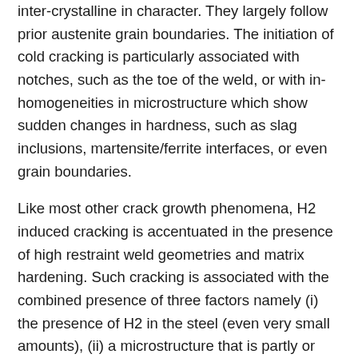inter-crystalline in character. They largely follow prior austenite grain boundaries. The initiation of cold cracking is particularly associated with notches, such as the toe of the weld, or with in-homogeneities in microstructure which show sudden changes in hardness, such as slag inclusions, martensite/ferrite interfaces, or even grain boundaries.
Like most other crack growth phenomena, H2 induced cracking is accentuated in the presence of high restraint weld geometries and matrix hardening. Such cracking is associated with the combined presence of three factors namely (i) the presence of H2 in the steel (even very small amounts), (ii) a microstructure that is partly or wholly martensitic, and (iii) high residual stresses (generally as a result of thick material). If one or more of these conditions is absent or at a low level, H2 induced cracking does not take place. However, high cooling rates